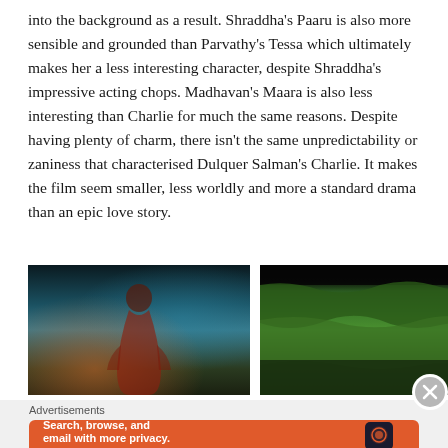into the background as a result. Shraddha's Paaru is also more sensible and grounded than Parvathy's Tessa which ultimately makes her a less interesting character, despite Shraddha's impressive acting chops. Madhavan's Maara is also less interesting than Charlie for much the same reasons. Despite having plenty of charm, there isn't the same unpredictability or zaniness that characterised Dulquer Salman's Charlie. It makes the film seem smaller, less worldly and more a standard drama than an epic love story.
[Figure (photo): Film still showing a woman in a red dress in a dimly lit scene with bokeh lights in the background.]
[Figure (photo): Film still showing an outdoor scene with lush green trees and people with colorful decorations.]
Advertisements
[Figure (screenshot): DuckDuckGo advertisement banner with orange background. Text reads: Search, browse, and email with more privacy. All in One Free App. Shows DuckDuckGo logo and a smartphone.]